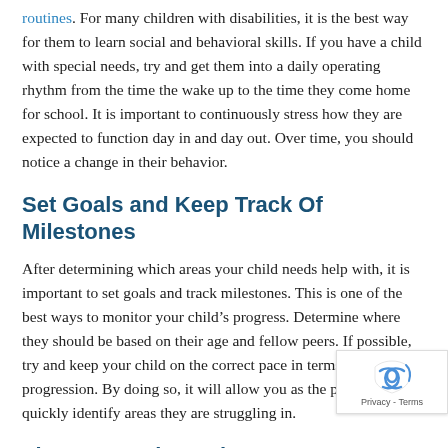routines. For many children with disabilities, it is the best way for them to learn social and behavioral skills. If you have a child with special needs, try and get them into a daily operating rhythm from the time the wake up to the time they come home for school. It is important to continuously stress how they are expected to function day in and day out. Over time, you should notice a change in their behavior.
Set Goals and Keep Track Of Milestones
After determining which areas your child needs help with, it is important to set goals and track milestones. This is one of the best ways to monitor your child's progress. Determine where they should be based on their age and fellow peers. If possible, try and keep your child on the correct pace in terms of their progression. By doing so, it will allow you as the parent to quickly identify areas they are struggling in.
The Connections Therapy Center
The Connections Therapy Center serves families of children and adolescents with disabilities and special needs. We are a